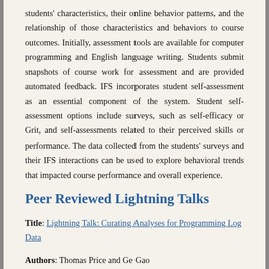students' characteristics, their online behavior patterns, and the relationship of those characteristics and behaviors to course outcomes. Initially, assessment tools are available for computer programming and English language writing. Students submit snapshots of course work for assessment and are provided automated feedback. IFS incorporates student self-assessment as an essential component of the system. Student self-assessment options include surveys, such as self-efficacy or Grit, and self-assessments related to their perceived skills or performance. The data collected from the students' surveys and their IFS interactions can be used to explore behavioral trends that impacted course performance and overall experience.
Peer Reviewed Lightning Talks
Title: Lightning Talk: Curating Analyses for Programming Log Data
Authors: Thomas Price and Ge Gao
Slides: Available Here
Abstract: